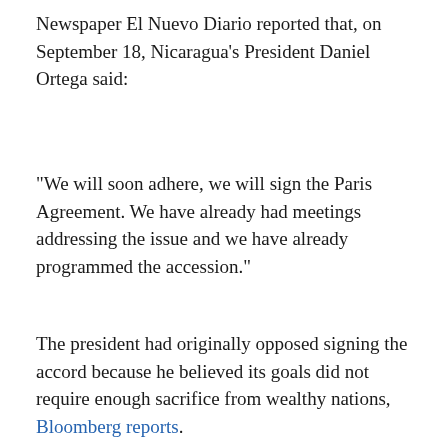Newspaper El Nuevo Diario reported that, on September 18, Nicaragua's President Daniel Ortega said:
“We will soon adhere, we will sign the Paris Agreement. We have already had meetings addressing the issue and we have already programmed the accession.”
The president had originally opposed signing the accord because he believed its goals did not require enough sacrifice from wealthy nations, Bloomberg reports.
The move means that Syria, which is in the midst of civil war, was the only country not included in the Paris agreement.
But President Trump has called the agreement a...